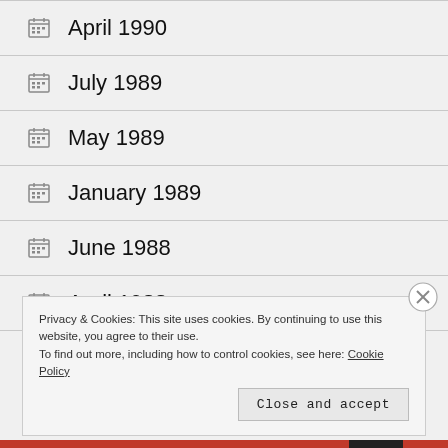April 1990
July 1989
May 1989
January 1989
June 1988
April 1988
Privacy & Cookies: This site uses cookies. By continuing to use this website, you agree to their use. To find out more, including how to control cookies, see here: Cookie Policy
Close and accept